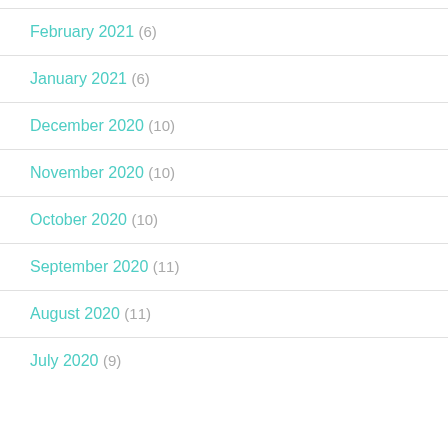February 2021 (6)
January 2021 (6)
December 2020 (10)
November 2020 (10)
October 2020 (10)
September 2020 (11)
August 2020 (11)
July 2020 (9)